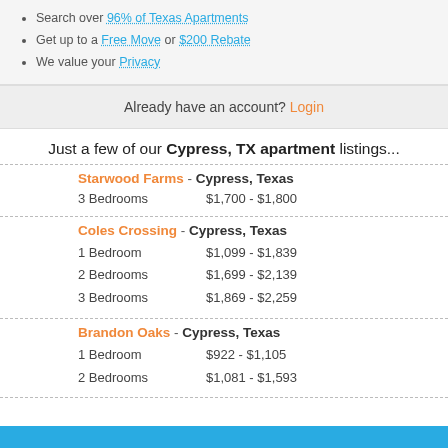Search over 96% of Texas Apartments
Get up to a Free Move or $200 Rebate
We value your Privacy
Already have an account? Login
Just a few of our Cypress, TX apartment listings...
Starwood Farms - Cypress, Texas
3 Bedrooms   $1,700 - $1,800
Coles Crossing - Cypress, Texas
1 Bedroom   $1,099 - $1,839
2 Bedrooms   $1,699 - $2,139
3 Bedrooms   $1,869 - $2,259
Brandon Oaks - Cypress, Texas
1 Bedroom   $922 - $1,105
2 Bedrooms   $1,081 - $1,593